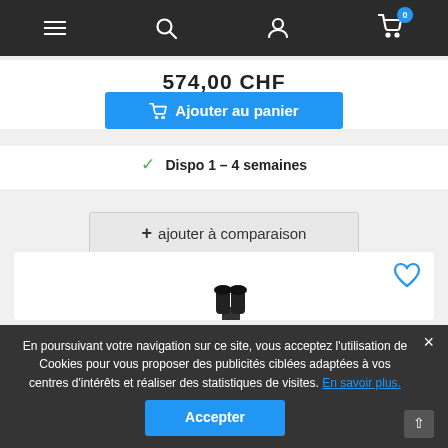Navigation bar with menu, search, account, and cart (0 items)
574/00 CHF
Ajouter au panier
Dispo 1 – 4 semaines
+ ajouter à comparaison
[Figure (photo): Laboratory microscope (binocular) shown from the front-left, white body with black eyepieces and objective lenses, on a black stage.]
En poursuivant votre navigation sur ce site, vous acceptez l'utilisation de Cookies pour vous proposer des publicités ciblées adaptées à vos centres d'intérêts et réaliser des statistiques de visites. En savoir plus.
Accepter